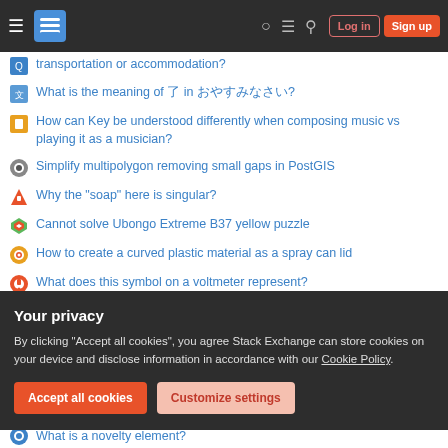Stack Exchange navigation bar with Log in and Sign up buttons
transportation or accommodation?
What is the meaning of 了 in おやすみなさい?
How can Key be understood differently when composing music vs playing it as a musician?
Simplify multipolygon removing small gaps in PostGIS
Why the "soap" here is singular?
Cannot solve Ubongo Extreme B37 yellow puzzle
How to create a curved plastic material as a spray can lid
What does this symbol on a voltmeter represent?
Like how you can do multiple 'sed' commands (delimited by ';') can
Your privacy
By clicking "Accept all cookies", you agree Stack Exchange can store cookies on your device and disclose information in accordance with our Cookie Policy.
What is a novelty element?